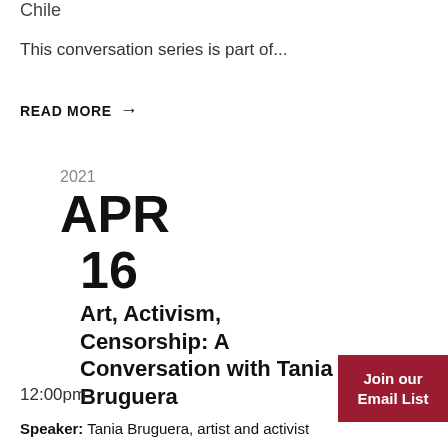Chile
This conversation series is part of...
READ MORE →
2021
APR
16
Art, Activism, Censorship: A Conversation with Tania Bruguera
12:00pm
Speaker: Tania Bruguera, artist and activist
Join our Email List